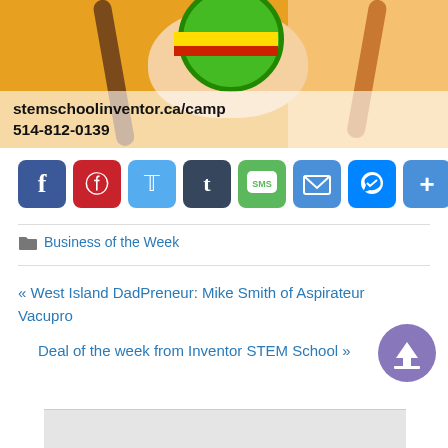[Figure (photo): Child with braids in yellow shirt holding a green magnifier/lollipop to face, with website URL and phone number overlaid: stemschoolinventor.ca/camp and 514-812-0139]
[Figure (infographic): Social sharing buttons row: Facebook (blue), Pinterest (red), Twitter (light blue), Tumblr (dark blue), SMS (green), Email (blue), Messenger (blue), Share+ (blue)]
Business of the Week
« West Island DadPreneur: Mike Smith of Aspirateur Vacupro
Deal of the week from Inventor STEM School »
[Figure (infographic): Scroll-to-top circular purple button with upward arrow]
[Figure (photo): Partial advertisement banner at bottom of page]